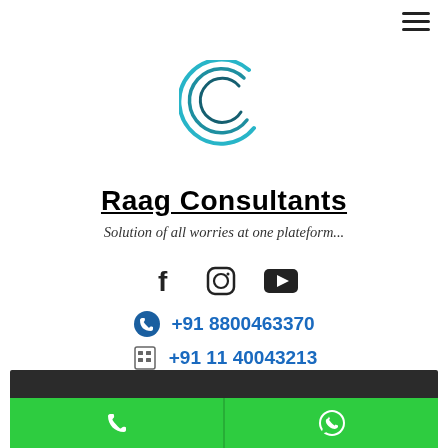[Figure (logo): Circular logo with teal/blue curved lines forming a crescent C shape]
Raag Consultants
Solution of all worries at one plateform...
[Figure (other): Social media icons: Facebook (f), Instagram, YouTube]
+91 8800463370
+91 11 40043213
[Figure (infographic): Dark banner with yellow bold text: ISO 9001 27001 13485 14001 18001 22000 45001 50001 HACCP HALAL GMP Certification Consultants]
[Figure (other): Green bottom bar with white phone icon on left and white WhatsApp icon on right]